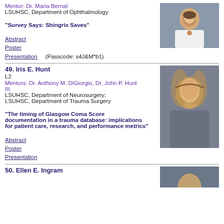Mentor: Dr. Maria Bernal
LSUHSC, Department of Ophthalmology
[Figure (photo): Portrait photo of a young woman in a white lab coat, smiling, with brown hair]
"Survey Says: Shingrix Saves"
Abstract
Poster
Presentation    (Passcode: s4J&M*b1)
49. Iris E. Hunt
L2
Mentors: Dr. Anthony M. DiGiorgio, Dr. John P. Hunt III
LSUHSC, Department of Neurosurgery;
LSUHSC, Department of Trauma Surgery
[Figure (photo): Portrait photo of a young woman with long curly blonde hair, smiling, wearing a gray blazer]
"The timing of Glasgow Coma Score documentation in a trauma database: implications for patient care, research, and performance metrics"
Abstract
Poster
Presentation
50. Ellen E. Ingram
[Figure (photo): Partial portrait photo at bottom of page]